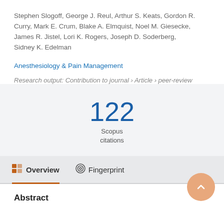Stephen Slogoff, George J. Reul, Arthur S. Keats, Gordon R. Curry, Mark E. Crum, Blake A. Elmquist, Noel M. Giesecke, James R. Jistel, Lori K. Rogers, Joseph D. Soderberg, Sidney K. Edelman
Anesthesiology & Pain Management
Research output: Contribution to journal › Article › peer-review
122
Scopus
citations
Overview
Fingerprint
Abstract